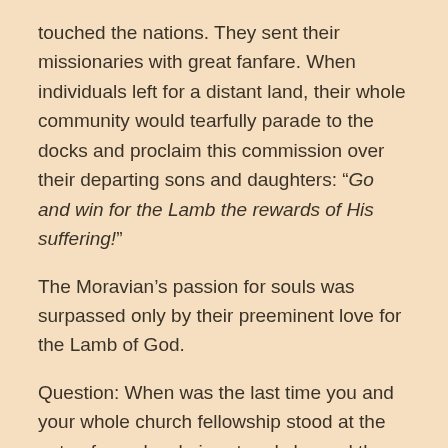touched the nations. They sent their missionaries with great fanfare. When individuals left for a distant land, their whole community would tearfully parade to the docks and proclaim this commission over their departing sons and daughters: “Go and win for the Lamb the rewards of His suffering!”
The Moravian’s passion for souls was surpassed only by their preeminent love for the Lamb of God.
Question: When was the last time you and your whole church fellowship stood at the gate of your local airport and cheered the departure, or the return of a gospel missionary? [a]
What would Jesus say about a people who more